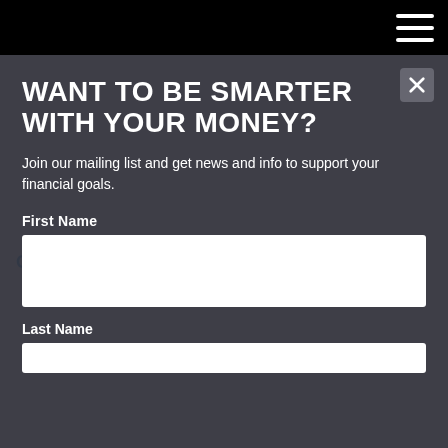WANT TO BE SMARTER WITH YOUR MONEY?
Join our mailing list and get news and info to support your financial goals.
First Name
Last Name